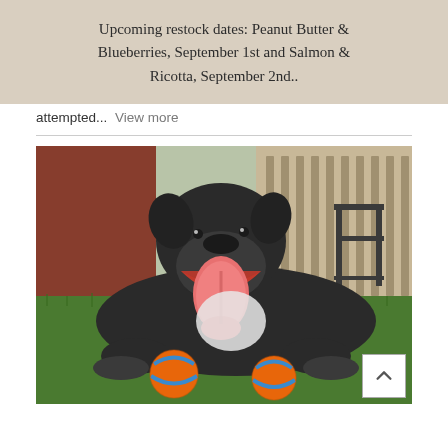Upcoming restock dates: Peanut Butter & Blueberries, September 1st and Salmon & Ricotta, September 2nd..
attempted... View more
[Figure (photo): A large black dog lying on green grass in a backyard, mouth open wide with tongue out, appearing to smile. Two orange and blue balls are in front of it. Background shows a wooden fence, a chair, and a red brick wall.]